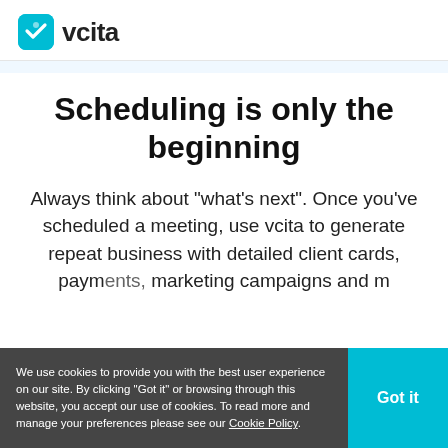vcita
Scheduling is only the beginning
Always think about "what's next". Once you've scheduled a meeting, use vcita to generate repeat business with detailed client cards, payments, marketing campaigns and more.
We use cookies to provide you with the best user experience on our site. By clicking "Got it" or browsing through this website, you accept our use of cookies. To read more and manage your preferences please see our Cookie Policy.